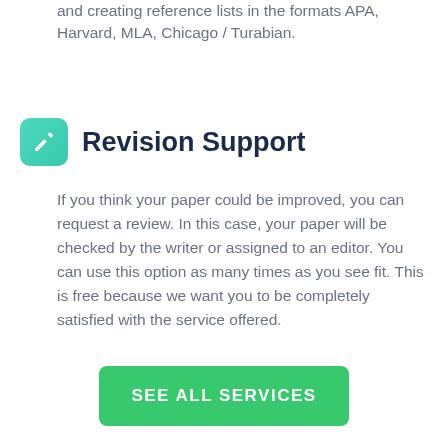and creating reference lists in the formats APA, Harvard, MLA, Chicago / Turabian.
Revision Support
If you think your paper could be improved, you can request a review. In this case, your paper will be checked by the writer or assigned to an editor. You can use this option as many times as you see fit. This is free because we want you to be completely satisfied with the service offered.
SEE ALL SERVICES